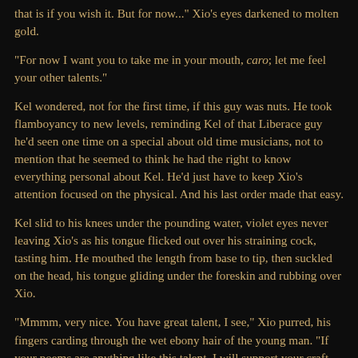that is if you wish it. But for now..." Xio’s eyes darkened to molten gold.
"For now I want you to take me in your mouth, caro; let me feel your other talents."
Kel wondered, not for the first time, if this guy was nuts. He took flamboyancy to new levels, reminding Kel of that Liberace guy he’d seen one time on a special about old time musicians, not to mention that he seemed to think he had the right to know everything personal about Kel. He’d just have to keep Xio’s attention focused on the physical. And his last order made that easy.
Kel slid to his knees under the pounding water, violet eyes never leaving Xio’s as his tongue flicked out over his straining cock, tasting him. He mouthed the length from base to tip, then suckled on the head, his tongue gliding under the foreskin and rubbing over Xio.
"Mmmm, very nice. You have great talent, I see," Xio purred, his fingers carding through the wet ebony hair of the young man. "If your poems are anything like this talent, I will support your craft myself," he promised impulsively. Besides if he were the boy’s patron, he could have Kel live with him or perhaps in the